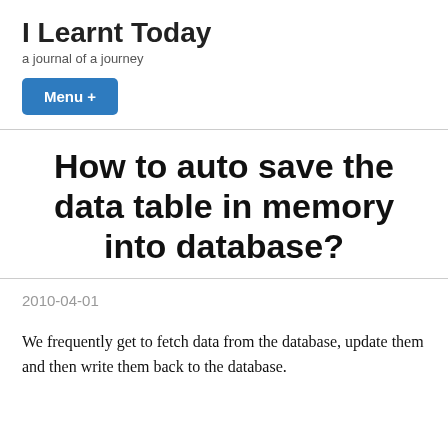I Learnt Today
a journal of a journey
Menu +
How to auto save the data table in memory into database?
2010-04-01
We frequently get to fetch data from the database, update them and then write them back to the database.